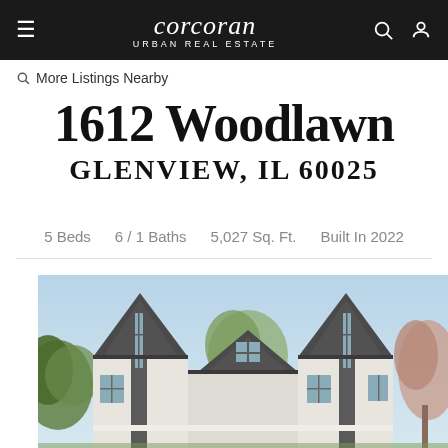corcoran URBAN REAL ESTATE
More Listings Nearby
1612 Woodlawn
GLENVIEW, IL 60025
5 Beds   6 / 1 Baths   5,027 Sq. Ft.   Built In 2022
[Figure (photo): Exterior rendering of a modern two-story white house with dark grey steep gabled rooflines, tall narrow windows, and surrounding trees]